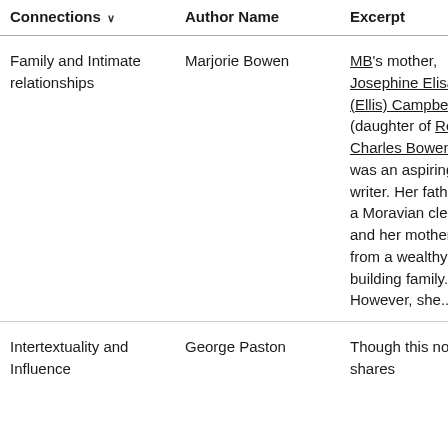| Connections ↓ | Author Name | Excerpt |
| --- | --- | --- |
| Family and Intimate relationships | Marjorie Bowen | MB's mother, Josephine Elisabeth (Ellis) Campbell (daughter of Rev. Charles Bowen Ellis), was an aspiring writer. Her father was a Moravian clergyman and her mother came from a wealthy ship-building family. However, she... |
| Intertextuality and Influence | George Paston | Though this novel shares |